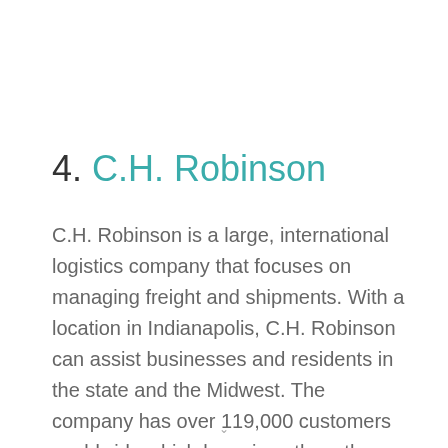4. C.H. Robinson
C.H. Robinson is a large, international logistics company that focuses on managing freight and shipments. With a location in Indianapolis, C.H. Robinson can assist businesses and residents in the state and the Midwest. The company has over 119,000 customers worldwide which has given them the ability to overcome challenges